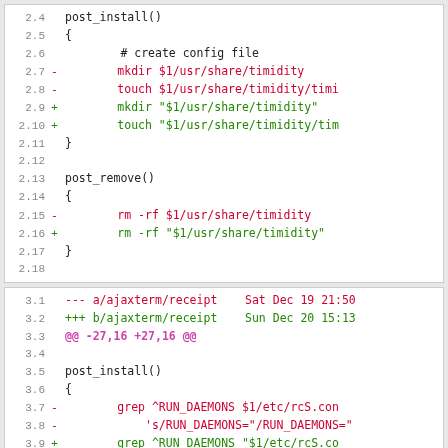[Figure (screenshot): Code diff screenshot showing two diff blocks. Block 1 shows lines 2.4-2.18 with post_install() and post_remove() functions modifying mkdir/touch/rm -rf commands to add quoted paths. Block 2 shows lines 3.1-3.15 with file header lines and post_install() function modifying grep and if commands.]